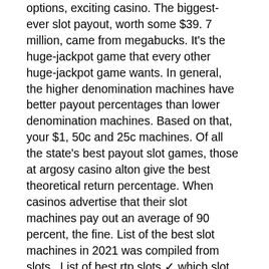options, exciting casino. The biggest-ever slot payout, worth some $39. 7 million, came from megabucks. It's the huge-jackpot game that every other huge-jackpot game wants. In general, the higher denomination machines have better payout percentages than lower denomination machines. Based on that, your $1, 50c and 25c machines. Of all the state's best payout slot games, those at argosy casino alton give the best theoretical return percentage. When casinos advertise that their slot machines pay out an average of 90 percent, the fine. List of the best slot machines in 2021 was compiled from slots,. List of best rtp slots ✓ which slot machines pay the best? ✓ what does rtp stand for? ✓ find out more about slot payouts return to player. It's one of the most-asked questions among slot players: which machines are due to hit? or, how do i tell when a machine is due? or, which machines are the best. On march 21, 2003, an